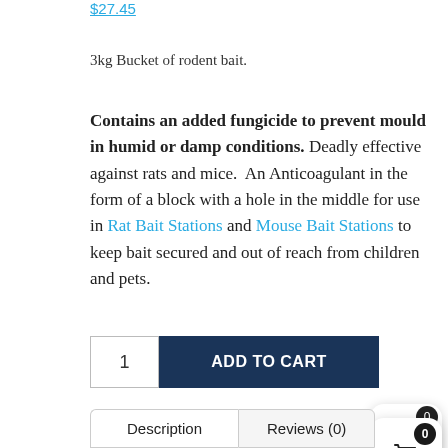$27.45
3kg Bucket of rodent bait.
Contains an added fungicide to prevent mould in humid or damp conditions. Deadly effective against rats and mice. An Anticoagulant in the form of a block with a hole in the middle for use in Rat Bait Stations and Mouse Bait Stations to keep bait secured and out of reach from children and pets.
1  ADD TO CART
Category: Rodent Control SKU: Storm-3kg
Description   Reviews (0)